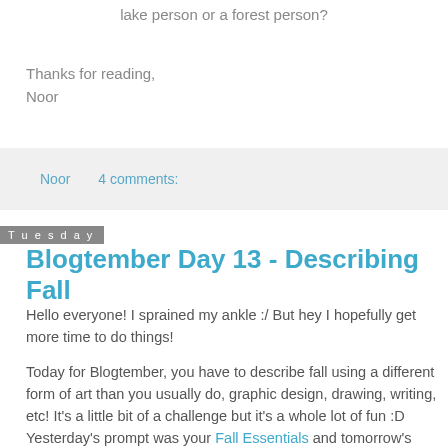lake person or a forest person?
Thanks for reading,
Noor
Noor    4 comments:
Tuesday
Blogtember Day 13 - Describing Fall
Hello everyone! I sprained my ankle :/ But hey I hopefully get more time to do things!
Today for Blogtember, you have to describe fall using a different form of art than you usually do, graphic design, drawing, writing, etc! It's a little bit of a challenge but it's a whole lot of fun :D
Yesterday's prompt was your Fall Essentials and tomorrow's